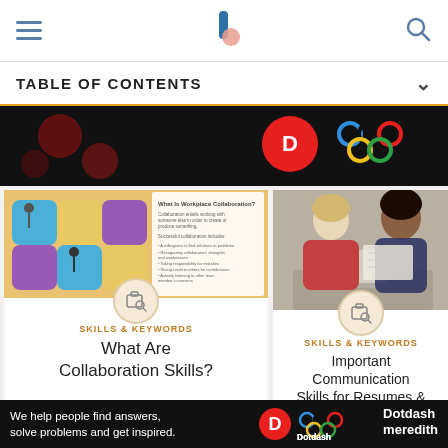TABLE OF CONTENTS
[Figure (screenshot): Dark banner with Dotdash/Olympic rings logos]
[Figure (illustration): What Is Workplace Collaboration? - puzzle pieces illustration with collaboration skills text]
SKILLS & KEYWORDS
What Are Collaboration Skills?
[Figure (photo): Two women looking at documents together in office setting]
SKILLS & KEYWORDS
Important Communication Skills for Resumes & Cover Letters
[Figure (screenshot): Partial bottom image of person]
We help people find answers, solve problems and get inspired. Dotdash meredith